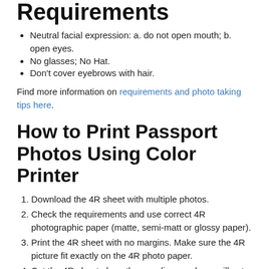Requirements
Neutral facial expression: a. do not open mouth; b. open eyes.
No glasses; No Hat.
Don't cover eyebrows with hair.
Find more information on requirements and photo taking tips here.
How to Print Passport Photos Using Color Printer
Download the 4R sheet with multiple photos.
Check the requirements and use correct 4R photographic paper (matte, semi-matt or glossy paper).
Print the 4R sheet with no margins. Make sure the 4R picture fit exactly on the 4R photo paper.
Cut the 4R sheet along the gray lines and you will get multiple photos.
Steps to create passport